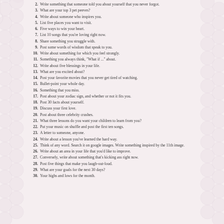2. Write something that someone told you about yourself that you never forgot.
3. What are your top 3 pet peeves?
4. Write about someone who inspires you.
5. List five places you want to visit.
6. Five ways to win your heart.
7. List 10 songs that you're loving right now.
8. Share something you struggle with.
9. Post some words of wisdom that speak to you.
10. Write about something for which you feel strongly.
11. Something you always think, "What if ..." about.
12. Write about five blessings in your life.
13. What are you excited about?
14. Post your favorite movies that you never get tired of watching.
15. Bullet-point your whole day.
16. Something that you miss.
17. Post about your zodiac sign, and whether or not it fits you.
18. Post 30 facts about yourself.
19. Discuss your first love.
20. Post about three celebrity crushes.
21. What three lessons do you want your children to learn from you?
22. Put your music on shuffle and post the first ten songs.
23. A letter to someone, anyone.
24. Write about a lesson you've learned the hard way.
25. Think of any word. Search it on google images. Write something inspired by the 11th image.
26. Write about an area in your life that you'd like to improve.
27. Conversely, write about something that's kicking ass right now.
28. Post five things that make you laugh-out-loud.
29. What are your goals for the next 30 days?
30. Your highs and lows for the month.